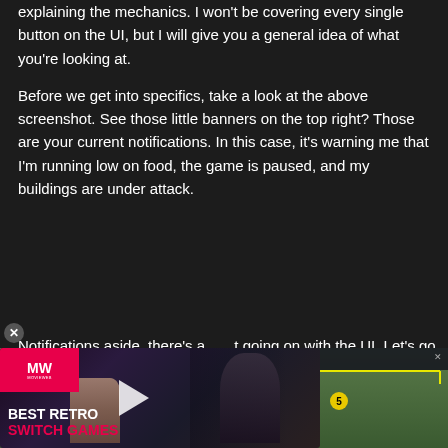explaining the mechanics. I won't be covering every single button on the UI, but I will give you a general idea of what you're looking at.
Before we get into specifics, take a look at the above screenshot. See those little banners on the top right? Those are your current notifications. In this case, it's warning me that I'm running low on food, the game is paused, and my buildings are under attack.
Notifications aside, there's a lot going on with the UI. Let's go
[Figure (screenshot): Advertisement overlay for 'Best Retro Switch Games' from MW (Movie Web or similar), showing a cinematic image with two characters and a play button, with pink/red logo bar top left. Over a game screenshot showing UI elements with yellow bracket indicators numbered 3, 4, 5 and a top resource bar.]